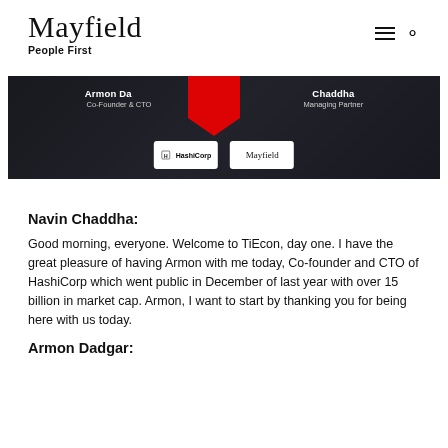Mayfield
People First
[Figure (photo): Dark banner image showing Armon Dadgar (Co-Founder & CTO, HashiCorp) and Navin Chaddha (Managing Partner, Mayfield) with their respective logos, partially obscured by a red overlay shape in the center.]
Navin Chaddha:
Good morning, everyone. Welcome to TiEcon, day one. I have the great pleasure of having Armon with me today, Co-founder and CTO of HashiCorp which went public in December of last year with over 15 billion in market cap. Armon, I want to start by thanking you for being here with us today.
Armon Dadgar: